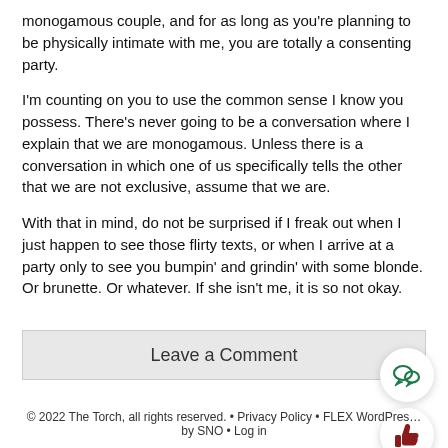monogamous couple, and for as long as you're planning to be physically intimate with me, you are totally a consenting party.
I'm counting on you to use the common sense I know you possess. There's never going to be a conversation where I explain that we are monogamous. Unless there is a conversation in which one of us specifically tells the other that we are not exclusive, assume that we are.
With that in mind, do not be surprised if I freak out when I just happen to see those flirty texts, or when I arrive at a party only to see you bumpin' and grindin' with some blonde. Or brunette. Or whatever. If she isn't me, it is so not okay.
Leave a Comment
© 2022 The Torch, all rights reserved. • Privacy Policy • FLEX WordPress by SNO • Log in